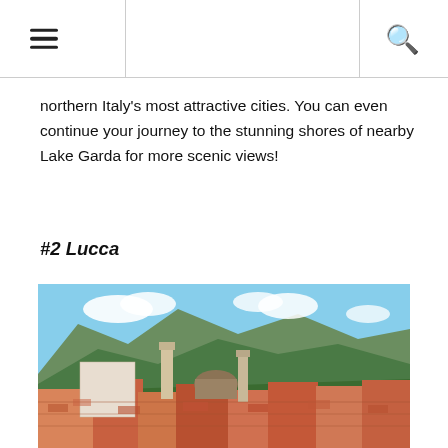[Hamburger menu icon] [Search icon]
northern Italy's most attractive cities. You can even continue your journey to the stunning shores of nearby Lake Garda for more scenic views!
#2 Lucca
[Figure (photo): Aerial/elevated view of Lucca, Italy showing terracotta rooftops, church towers, and mountains in the background under a blue sky with clouds.]